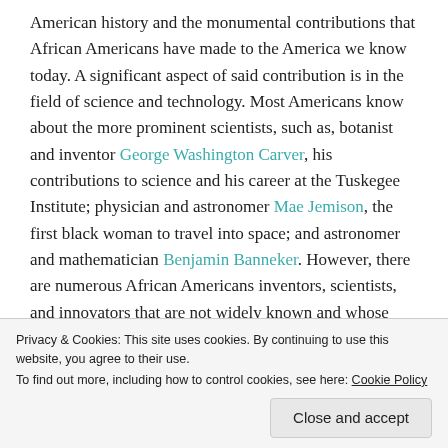American history and the monumental contributions that African Americans have made to the America we know today. A significant aspect of said contribution is in the field of science and technology. Most Americans know about the more prominent scientists, such as, botanist and inventor George Washington Carver, his contributions to science and his career at the Tuskegee Institute; physician and astronomer Mae Jemison, the first black woman to travel into space; and astronomer and mathematician Benjamin Banneker. However, there are numerous African Americans inventors, scientists, and innovators that are not widely known and whose
Privacy & Cookies: This site uses cookies. By continuing to use this website, you agree to their use. To find out more, including how to control cookies, see here: Cookie Policy
Close and accept